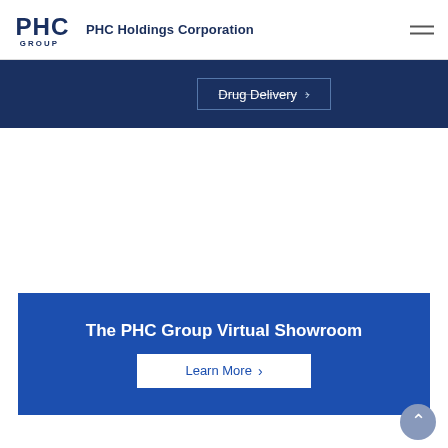PHC Holdings Corporation
Drug Delivery
The PHC Group Virtual Showroom
Learn More